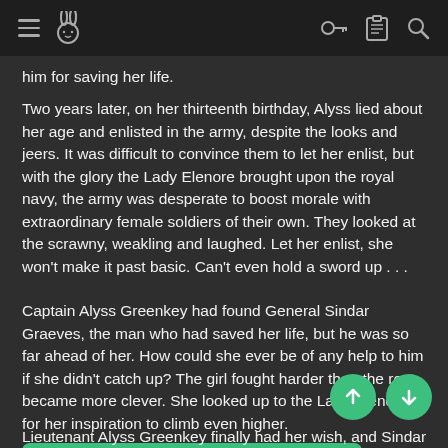navigation bar with hamburger menu, rabbit logo, key icon, clipboard icon, search icon
him for saving her life.
Two years later, on her thirteenth birthday, Alyss lied about her age and enlisted in the army, despite the looks and jeers. It was difficult to convince them to let her enlist, but with the glory the Lady Elenore brought upon the royal navy, the army was desperate to boost morale with extraordinary female soldiers of their own. They looked at the scrawny, weakling and laughed. Let her enlist, she won't make it past basic. Can't even hold a sword up . . .
Captain Alyss Greenkey had found General Sindar Graeves, the man who had saved her life, but he was so far ahead of her. How could she ever be of any help to him if she didn't catch up? The girl fought harder than the rest, became more clever. She looked up to the Lady Elenore for her inspiration to climb even higher.
One more month to submit for Tales from Iwaku!!!
Lieutenant Alyss Greenkey finally had her wish, and Sindar now had